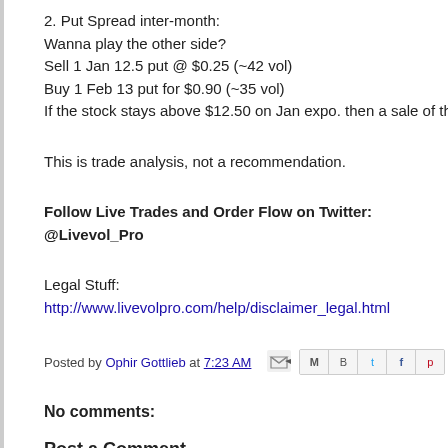2. Put Spread inter-month:
Wanna play the other side?
Sell 1 Jan 12.5 put @ $0.25 (~42 vol)
Buy 1 Feb 13 put for $0.90 (~35 vol)
If the stock stays above $12.50 on Jan expo. then a sale of the Feb 12 put can
This is trade analysis, not a recommendation.
Follow Live Trades and Order Flow on Twitter: @Livevol_Pro
Legal Stuff:
http://www.livevolpro.com/help/disclaimer_legal.html
Posted by Ophir Gottlieb at 7:23 AM
No comments:
Post a Comment
Enter Comment